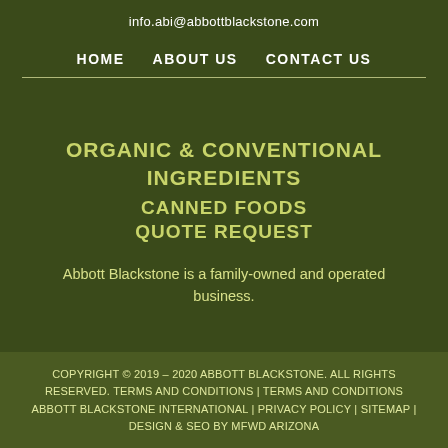info.abi@abbottblackstone.com
HOME   ABOUT US   CONTACT US
ORGANIC & CONVENTIONAL INGREDIENTS CANNED FOODS QUOTE REQUEST
Abbott Blackstone is a family-owned and operated business.
COPYRIGHT © 2019 – 2020 ABBOTT BLACKSTONE. ALL RIGHTS RESERVED. TERMS AND CONDITIONS | TERMS AND CONDITIONS ABBOTT BLACKSTONE INTERNATIONAL | PRIVACY POLICY | SITEMAP | DESIGN & SEO BY MFWD ARIZONA